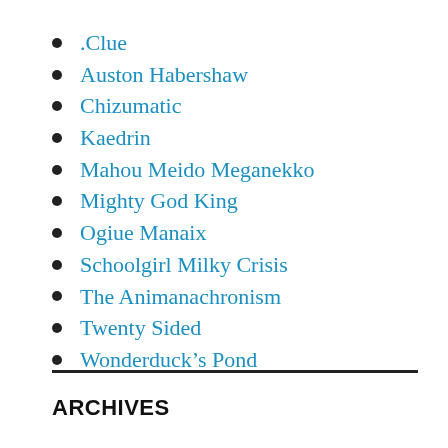.Clue
Auston Habershaw
Chizumatic
Kaedrin
Mahou Meido Meganekko
Mighty God King
Ogiue Manaix
Schoolgirl Milky Crisis
The Animanachronism
Twenty Sided
Wonderduck’s Pond
ARCHIVES